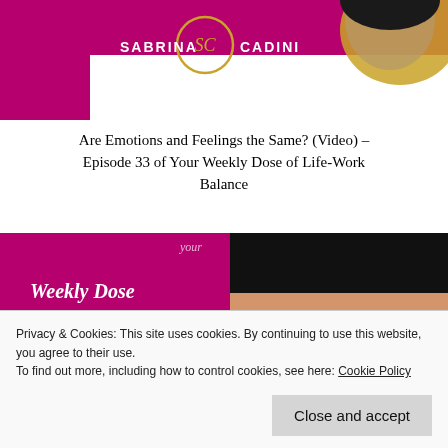[Figure (illustration): Top banner showing Sabrina Cadini branding with magenta/pink background, SC logo circle, woman's face, and golden shape]
Are Emotions and Feelings the Same? (Video) – Episode 33 of Your Weekly Dose of Life-Work Balance
[Figure (illustration): Second banner with magenta/pink background showing text 'Weekly Dose of LIFE-WORK BALANCE' in white and yellow, with photo of woman with glasses]
Privacy & Cookies: This site uses cookies. By continuing to use this website, you agree to their use.
To find out more, including how to control cookies, see here: Cookie Policy
Close and accept
Balance